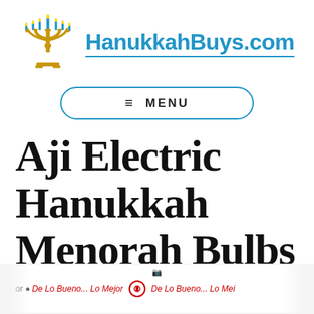[Figure (logo): HanukkahBuys.com website logo with golden menorah illustration and blue candles, next to the site name 'HanukkahBuys.com' in blue bold text with an underline]
≡  MENU
Aji Electric Hanukkah Menorah Bulbs
[Figure (photo): Bottom portion of a white cylindrical product (a mug or box) with red text reading 'De Lo Bueno... Lo Mejor' repeated around it, with small red circular logo icons]